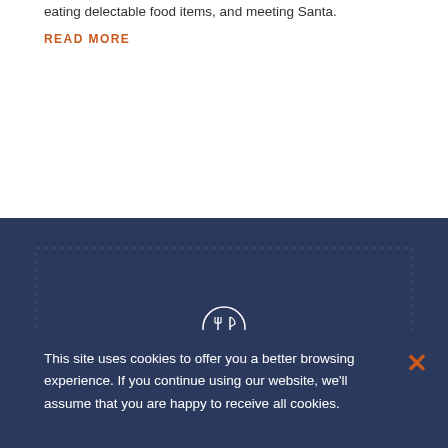eating delectable food items, and meeting Santa.
READ MORE
[Figure (logo): St. Anthony's logo on dark navy blue background with icon and tagline 'HOPE | STABILITY | RENEWAL']
This site uses cookies to offer you a better browsing experience. If you continue using our website, we'll assume that you are happy to receive all cookies.